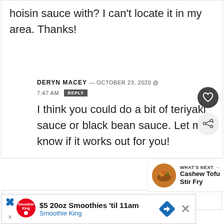hoisin sauce with? I can't locate it in my area. Thanks!
DERYN MACEY — OCTOBER 23, 2020 @ 7:47 AM REPLY
I think you could do a bit of teriyaki sauce or black bean sauce. Let me know if it works out for you!
WHAT'S NEXT → Cashew Tofu Stir Fry
HEIDI DAWES — FEBRUARY 8, 2020 @ 4:29 PM
[Figure (infographic): Advertisement bar: $5 20oz Smoothies 'til 11am, Smoothie King, with logo, arrow icon, and close button]